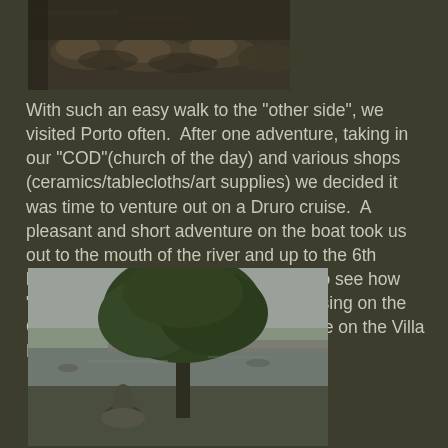[Figure (photo): Photograph of sea lions or seals resting on rocks/dock, viewed from above, dark and muted tones]
With such an easy walk to the "other side", we visited Porto often.  After one adventure, taking in our "COD"(church of the day) and various shops (ceramics/tablecloths/art supplies) we decided it was time to venture out on a Druro cruise.  A pleasant and short adventure on the boat took us out to the mouth of the river and up to the 6th bridge and back.  We were surprised to see how "lop-sided" the development was--housing on the Oporto side and masses of port storage on the Villa Nova do Giia side.
[Figure (photo): Outdoor photograph showing a large tree in the foreground, a bronze statue of a seated figure near the waterfront, a river with a bridge in the background, overcast sky]